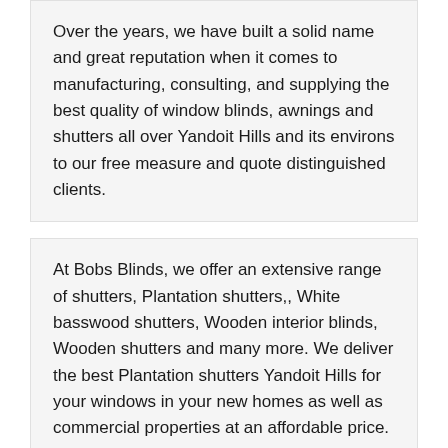Over the years, we have built a solid name and great reputation when it comes to manufacturing, consulting, and supplying the best quality of window blinds, awnings and shutters all over Yandoit Hills and its environs to our free measure and quote distinguished clients.
At Bobs Blinds, we offer an extensive range of shutters, Plantation shutters,, White basswood shutters, Wooden interior blinds, Wooden shutters and many more. We deliver the best Plantation shutters Yandoit Hills for your windows in your new homes as well as commercial properties at an affordable price. Come to us today to get free quotation.
[Figure (photo): Partial view of a window shutters product image on the left and a green banner with the text PLANTATION on the right]